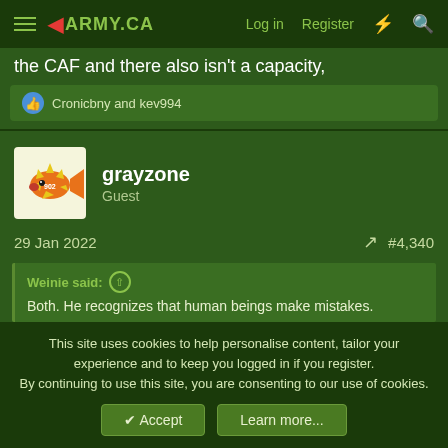army.ca — Log in | Register
the CAF and there also isn't a capacity,
Cronicbny and kev994
grayzone
Guest
29 Jan 2022  #4,340
Weinie said: ↑
Both. He recognizes that human beings make mistakes.
Human beings make mistakes. Leaders own theirs and take action to correct them.
This site uses cookies to help personalise content, tailor your experience and to keep you logged in if you register.
By continuing to use this site, you are consenting to our use of cookies.